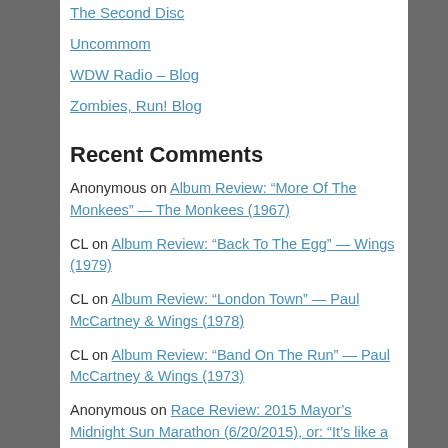The Second Disc
Uncommom
WDW Radio – Blog
Zombies, Run! Blog
Recent Comments
Anonymous on Album Review: “More Of The Monkees” — The Monkees (1967)
CL on Album Review: “Back To The Egg” — Wings (1979)
CL on Album Review: “London Town” — Paul McCartney & Wings (1978)
CL on Album Review: “Band On The Run” — Paul McCartney & Wings (1973)
Anonymous on Race Review: 2015 Mayor’s Midnight Sun Marathon (6/20/2015), or: “It’s like a dream, no end and no beginning…”